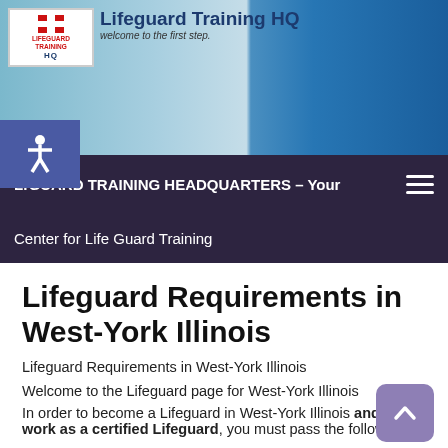[Figure (screenshot): Lifeguard Training HQ website banner with logo, pier background, and lifeguard photo]
LIFEGUARD TRAINING HEADQUARTERS – Your Center for Life Guard Training
Lifeguard Requirements in West-York Illinois
Lifeguard Requirements in West-York Illinois
Welcome to the Lifeguard page for West-York Illinois
In order to become a Lifeguard in West-York Illinois and to work as a certified Lifeguard, you must pass the following